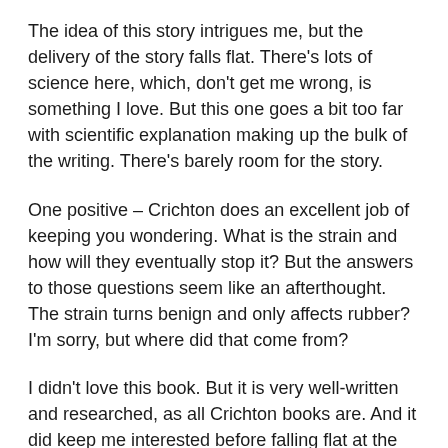The idea of this story intrigues me, but the delivery of the story falls flat. There's lots of science here, which, don't get me wrong, is something I love. But this one goes a bit too far with scientific explanation making up the bulk of the writing. There's barely room for the story.
One positive – Crichton does an excellent job of keeping you wondering. What is the strain and how will they eventually stop it? But the answers to those questions seem like an afterthought. The strain turns benign and only affects rubber? I'm sorry, but where did that come from?
I didn't love this book. But it is very well-written and researched, as all Crichton books are. And it did keep me interested before falling flat at the end. There were some dead spots in the middle where I had to skip over big paragraphs of science just to get through to the next